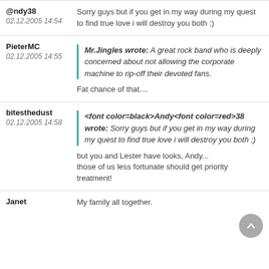@ndy38 | 02.12.2005 14:54 | Sorry guys but if you get in my way during my quest to find true love i will destroy you both ;)
PieterMC | 02.12.2005 14:55 | Mr.Jingles wrote: A great rock band who is deeply concerned about not allowing the corporate machine to rip-off their devoted fans. Fat chance of that....
bitesthedust | 02.12.2005 14:58 | <font color=black>Andy<font color=red>38 wrote: Sorry guys but if you get in my way during my quest to find true love i will destroy you both ;) but you and Lester have looks, Andy... those of us less fortunate should get priority treatment!
Janet | My family all together.